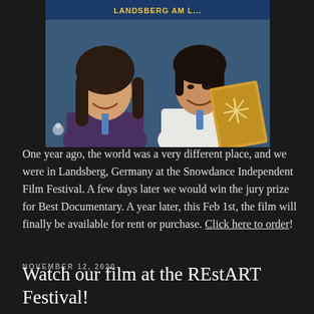[Figure (photo): Two women smiling at a film festival, one holding a gold award plaque with a snowflake design. A banner reading 'LANDSBERG AM L...' is visible in the background.]
One year ago, the world was a very different place, and we were in Landsberg, Germany at the Snowdance Independent Film Festival. A few days later we would win the jury prize for Best Documentary. A year later, this Feb 1st, the film will finally be available for rent or purchase. Click here to order!
NOVEMBER 12, 2020
Watch our film at the REstART Festival!